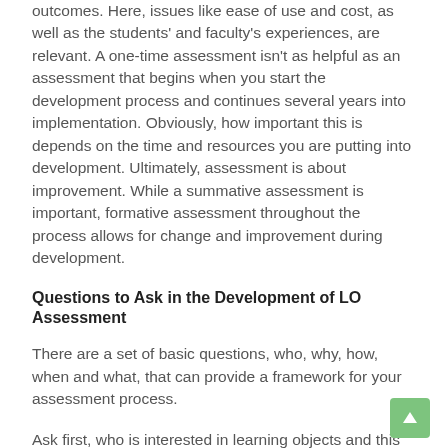outcomes. Here, issues like ease of use and cost, as well as the students' and faculty's experiences, are relevant. A one-time assessment isn't as helpful as an assessment that begins when you start the development process and continues several years into implementation. Obviously, how important this is depends on the time and resources you are putting into development. Ultimately, assessment is about improvement. While a summative assessment is important, formative assessment throughout the process allows for change and improvement during development.
Questions to Ask in the Development of LO Assessment
There are a set of basic questions, who, why, how, when and what, that can provide a framework for your assessment process.
Ask first, who is interested in learning objects and this development process? Who are the stakeholders? Who is driving the use of learning objects? To whom will you have